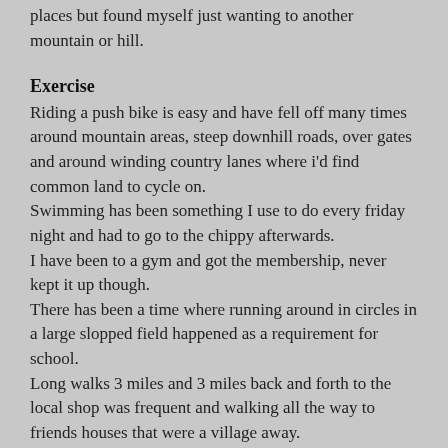places but found myself just wanting to another mountain or hill.
Exercise
Riding a push bike is easy and have fell off many times around mountain areas, steep downhill roads, over gates and around winding country lanes where i'd find common land to cycle on.
Swimming has been something I use to do every friday night and had to go to the chippy afterwards.
I have been to a gym and got the membership, never kept it up though.
There has been a time where running around in circles in a large slopped field happened as a requirement for school.
Long walks 3 miles and 3 miles back and forth to the local shop was frequent and walking all the way to friends houses that were a village away.
Walking around inside the park is a favourite of mine, noticing the travelling fair visiting too sometimes.
I like growing vegetables and herbs outdoors in the garden when it is sunny for eating in the winter time when you cannot grow them.